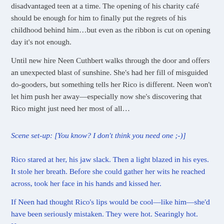disadvantaged teen at a time. The opening of his charity café should be enough for him to finally put the regrets of his childhood behind him…but even as the ribbon is cut on opening day it's not enough.
Until new hire Neen Cuthbert walks through the door and offers an unexpected blast of sunshine. She's had her fill of misguided do-gooders, but something tells her Rico is different. Neen won't let him push her away—especially now she's discovering that Rico might just need her most of all…
Scene set-up: [You know? I don't think you need one ;-)]
Rico stared at her, his jaw slack. Then a light blazed in his eyes. It stole her breath. Before she could gather her wits he reached across, took her face in his hands and kissed her.
If Neen had thought Rico's lips would be cool—like him—she'd have been seriously mistaken. They were hot. Searingly hot. Heat